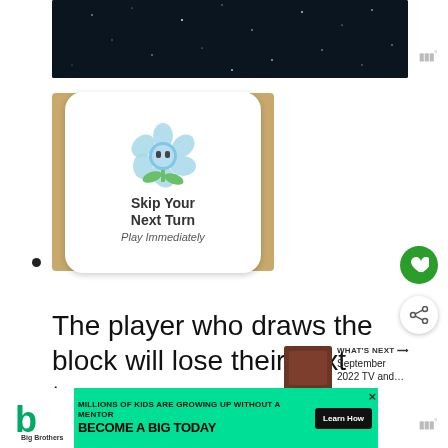[Figure (photo): Dark night sky image at top of page]
[Figure (photo): Photo of a game card on a wooden table. Card shows a blue flower character with eyes and reads 'Skip Your Next Turn - Play Immediately']
The player who draws the block will lose their next turn.
[Figure (photo): Partially visible game card at bottom]
[Figure (infographic): Advertisement banner: Big Brothers Big Sisters - 'MILLIONS OF KIDS ARE GROWING UP WITHOUT A MENTOR. BECOME A BIG TODAY' with Learn How button]